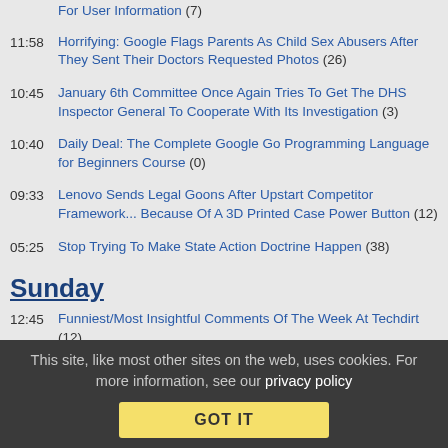For User Information (7)
11:58 Horrifying: Google Flags Parents As Child Sex Abusers After They Sent Their Doctors Requested Photos (26)
10:45 January 6th Committee Once Again Tries To Get The DHS Inspector General To Cooperate With Its Investigation (3)
10:40 Daily Deal: The Complete Google Go Programming Language for Beginners Course (0)
09:33 Lenovo Sends Legal Goons After Upstart Competitor Framework... Because Of A 3D Printed Case Power Button (12)
05:25 Stop Trying To Make State Action Doctrine Happen (38)
Sunday
12:45 Funniest/Most Insightful Comments Of The Week At Techdirt (12)
Saturday
12:00 This Week In Techdirt History: August 14th - 20th (1)
This site, like most other sites on the web, uses cookies. For more information, see our privacy policy